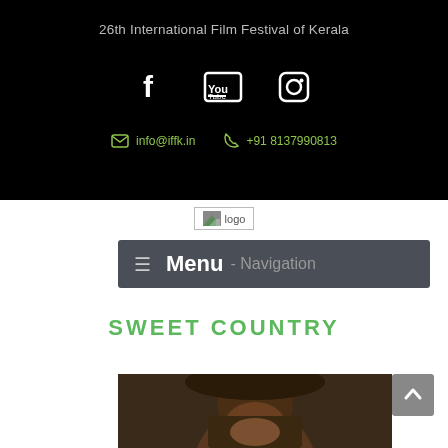26th International Film Festival of Kerala
[Figure (infographic): Social media icons: Facebook, YouTube, Instagram]
info@iffk.in  +91 8137990813
[Figure (logo): Website logo placeholder]
Menu - Navigation
SWEET COUNTRY
[Figure (photo): Portrait photo of a man wearing a wide-brimmed hat, dark background]